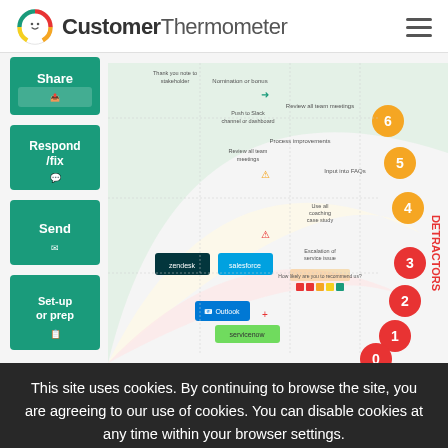[Figure (logo): CustomerThermometer logo with smiley face icon in teal/red/yellow colors and text 'CustomerThermometer']
[Figure (infographic): Customer feedback response planner infographic showing a semicircular NPS wheel with sections for Share, Respond/fix, Send, Set-up or prep actions and Detractors scale 0-6, with color-coded action items]
This site uses cookies. By continuing to browse the site, you are agreeing to our use of cookies. You can disable cookies at any time within your browser settings.
This feedback response planner is just one of the resources ava... Ultimate Guide to NPS. That's a greatest hits compilation all of